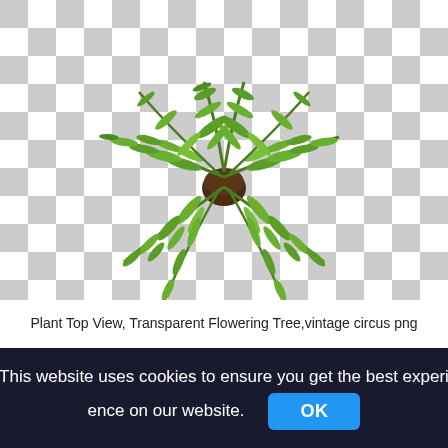[Figure (photo): Top-down view of a potted palm plant with lush green feathery fronds spreading out, rendered against a transparent (checkerboard gray and white) background.]
Plant Top View, Transparent Flowering Tree,vintage circus png
This website uses cookies to ensure you get the best experience on our website. OK